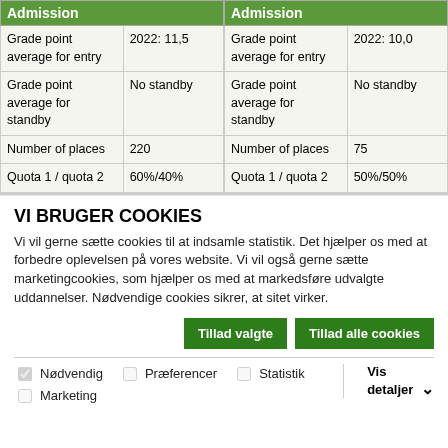| Admission |  |
| --- | --- |
| Grade point average for entry | 2022: 11,5 |
| Grade point average for standby | No standby |
| Number of places | 220 |
| Quota 1 / quota 2 | 60%/40% |
| Admission |  |
| --- | --- |
| Grade point average for entry | 2022: 10,0 |
| Grade point average for standby | No standby |
| Number of places | 75 |
| Quota 1 / quota 2 | 50%/50% |
VI BRUGER COOKIES
Vi vil gerne sætte cookies til at indsamle statistik. Det hjælper os med at forbedre oplevelsen på vores website. Vi vil også gerne sætte marketingcookies, som hjælper os med at markedsføre udvalgte uddannelser. Nødvendige cookies sikrer, at sitet virker.